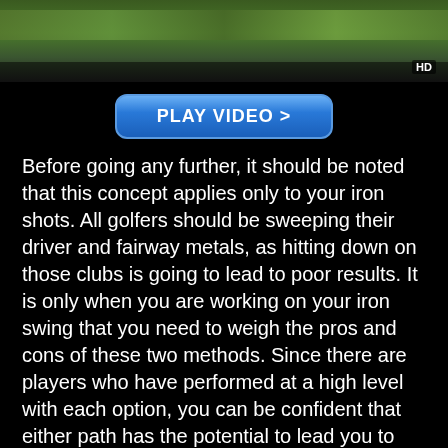[Figure (photo): Video thumbnail showing a golf course scene with green grass and an HD badge in the bottom right corner]
PLAY VIDEO >
Before going any further, it should be noted that this concept applies only to your iron shots. All golfers should be sweeping their driver and fairway metals, as hitting down on those clubs is going to lead to poor results. It is only when you are working on your iron swing that you need to weigh the pros and cons of these two methods. Since there are players who have performed at a high level with each option, you can be confident that either path has the potential to lead you to better golf.
The only true mistake that you can make when picking between a sweeping swing and a